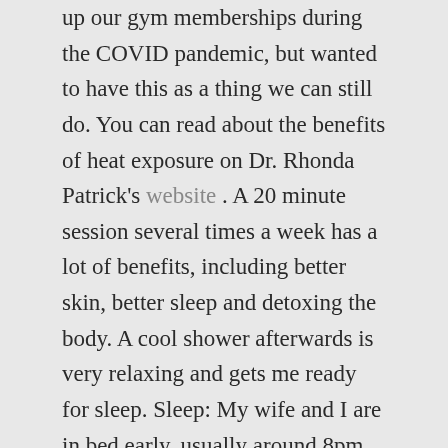up our gym memberships during the COVID pandemic, but wanted to have this as a thing we can still do. You can read about the benefits of heat exposure on Dr. Rhonda Patrick's website . A 20 minute session several times a week has a lot of benefits, including better skin, better sleep and detoxing the body. A cool shower afterwards is very relaxing and gets me ready for sleep. Sleep: My wife and I are in bed early, usually around 8pm. We prioritize sleep in our house, as it is necessary for life in general, but certain for our active lifestyle.
So, despite rumors to the contrary, I am not a